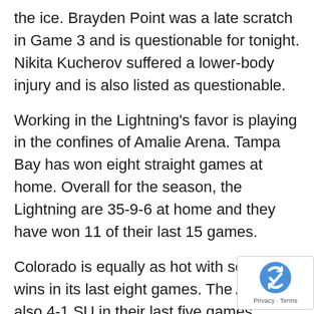the ice. Brayden Point was a late scratch in Game 3 and is questionable for tonight. Nikita Kucherov suffered a lower-body injury and is also listed as questionable.
Working in the Lightning's favor is playing in the confines of Amalie Arena. Tampa Bay has won eight straight games at home. Overall for the season, the Lightning are 35-9-6 at home and they have won 11 of their last 15 games.
Colorado is equally as hot with seven wins in its last eight games. The Avs are also 4-1 SU in their last five games against Tampa Bay and 4-1 SU in their last five games on the road. Colorado maintains a home-ice advantage for the series, but a win here in Game 4 would give the Avs the opportunity to close out the series in Colorado in Game 5.
[Figure (logo): Google reCAPTCHA badge with logo and Privacy · Terms links]